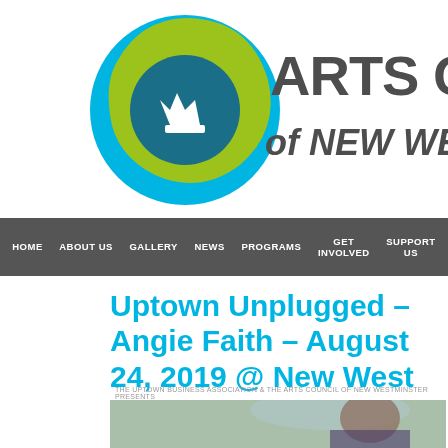[Figure (logo): Arts Council of New Westminster circular logo with teal and green colors and crown icon, plus partial organization name 'ARTS CO of NEW WEST']
HOME | ABOUT US | GALLERY | NEWS | PROGRAMS | GET INVOLVED | SUPPORT US
Uptown Unplugged – Angie Faith – August 24, 2019 @ New West Public Library
THE UPTOWN BUSINESS ASSOCIATION & THE ARTS COUNCIL OF NEW WESTMINSTER PRESENTS
[Figure (photo): Photo of a young woman with dark hair lying on grass, smiling at camera, outdoors]